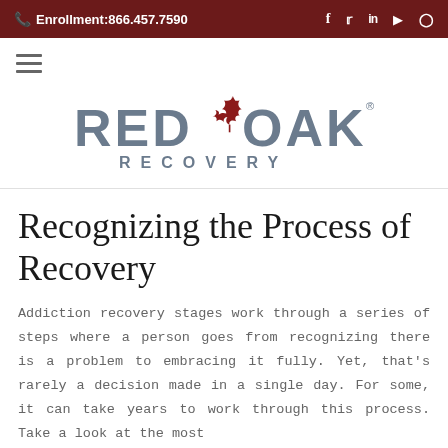Enrollment:866.457.7590
[Figure (logo): Red Oak Recovery logo with red maple leaf between RED and OAK text, RECOVERY below]
Recognizing the Process of Recovery
Addiction recovery stages work through a series of steps where a person goes from recognizing there is a problem to embracing it fully. Yet, that's rarely a decision made in a single day. For some, it can take years to work through this process. Take a look at the most